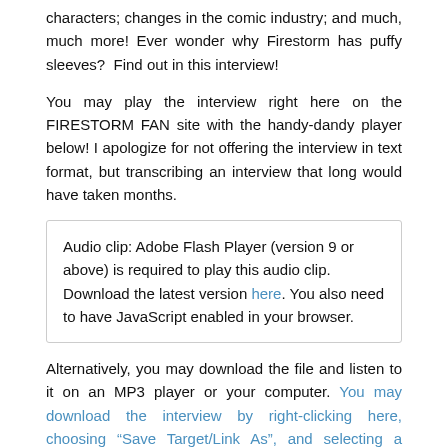characters; changes in the comic industry; and much, much more! Ever wonder why Firestorm has puffy sleeves? Find out in this interview!
You may play the interview right here on the FIRESTORM FAN site with the handy-dandy player below! I apologize for not offering the interview in text format, but transcribing an interview that long would have taken months.
Audio clip: Adobe Flash Player (version 9 or above) is required to play this audio clip. Download the latest version here. You also need to have JavaScript enabled in your browser.
Alternatively, you may download the file and listen to it on an MP3 player or your computer. You may download the interview by right-clicking here, choosing “Save Target/Link As”, and selecting a location on your computer to save the file (114 MB).
[Figure (illustration): Firestorm comic book cover showing the DC logo in white on red circle, 'NO. 1 MAR. 31142 35 cents' text, and the large orange-red flame lettering 'FIRESTORM' on a dark blue background with flames]